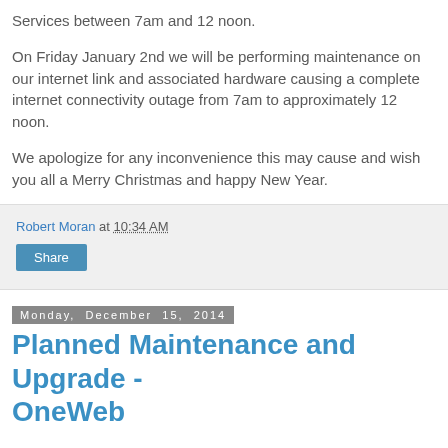Services between 7am and 12 noon.
On Friday January 2nd we will be performing maintenance on our internet link and associated hardware causing a complete internet connectivity outage from 7am to approximately 12 noon.
We apologize for any inconvenience this may cause and wish you all a Merry Christmas and happy New Year.
Robert Moran at 10:34 AM
Share
Monday, December 15, 2014
Planned Maintenance and Upgrade - OneWeb
The OneWeb "Add Value" system for JasperCard will be offline for maintenance and upgrade starting in the afternoon of Tuesday 12/16. The upgrade has been scheduled to